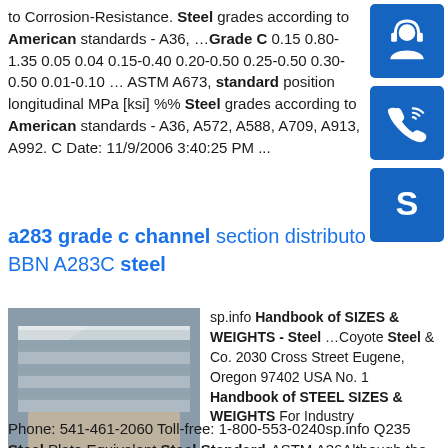to Corrosion-Resistance. Steel grades according to American standards - A36, …Grade C 0.15 0.80-1.35 0.05 0.04 0.15-0.40 0.20-0.50 0.25-0.50 0.30-0.50 0.01-0.10 … ASTM A673, standard position longitudinal MPa [ksi] %% Steel grades according to American standards - A36, A572, A588, A709, A913, A992. C Date: 11/9/2006 3:40:25 PM ...
[Figure (illustration): Blue sidebar icons: headset/support icon, phone icon, and Skype logo icon, each in a blue rounded square button]
a283 grade c channel section distributor BBN A283C steel
[Figure (photo): Photo of stacked steel plates, gray metallic color]
sp.info Handbook of SIZES & WEIGHTS - Steel …Coyote Steel & Co. 2030 Cross Street Eugene, Oregon 97402 USA No. 1 Handbook of STEEL SIZES & WEIGHTS For Industry Phone: 541-461-2060 Toll-free: 1-800-553-0240sp.info Q235 Steel Plate Equivalent Steel Standard-ASTM A36Although the Q235 steel is close to steel plate...